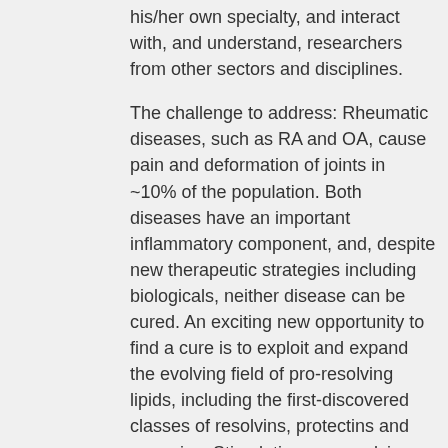his/her own specialty, and interact with, and understand, researchers from other sectors and disciplines.
The challenge to address: Rheumatic diseases, such as RA and OA, cause pain and deformation of joints in ~10% of the population. Both diseases have an important inflammatory component, and, despite new therapeutic strategies including biologicals, neither disease can be cured. An exciting new opportunity to find a cure is to exploit and expand the evolving field of pro-resolving lipids, including the first-discovered classes of resolvins, protectins and maresins. Stimulating pro-resolving lipids, instead of blocking pro-inflammatory mediators, offers a novel way to treat rheumatic diseases. However, the complexity of this strategy requires collaboration of researchers from biology,